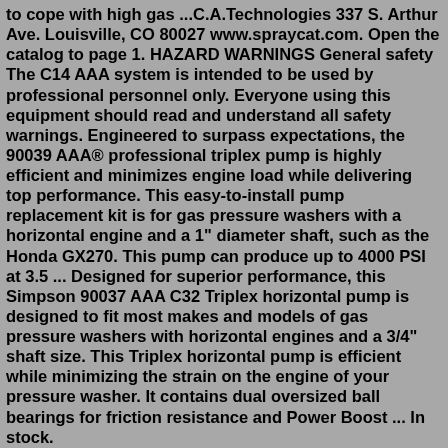to cope with high gas ...C.A.Technologies 337 S. Arthur Ave. Louisville, CO 80027 www.spraycat.com. Open the catalog to page 1. HAZARD WARNINGS General safety The C14 AAA system is intended to be used by professional personnel only. Everyone using this equipment should read and understand all safety warnings. Engineered to surpass expectations, the 90039 AAA® professional triplex pump is highly efficient and minimizes engine load while delivering top performance. This easy-to-install pump replacement kit is for gas pressure washers with a horizontal engine and a 1" diameter shaft, such as the Honda GX270. This pump can produce up to 4000 PSI at 3.5 ... Designed for superior performance, this Simpson 90037 AAA C32 Triplex horizontal pump is designed to fit most makes and models of gas pressure washers with horizontal engines and a 3/4" shaft size. This Triplex horizontal pump is efficient while minimizing the strain on the engine of your pressure washer. It contains dual oversized ball bearings for friction resistance and Power Boost ... In stock.